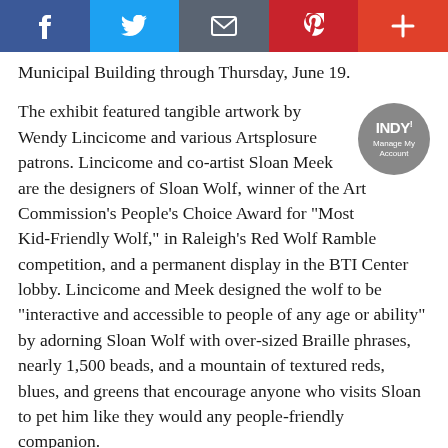Social sharing bar with Facebook, Twitter, Email, Pinterest, and Plus buttons
Municipal Building through Thursday, June 19.
The exhibit featured tangible artwork by Wendy Lincicome and various Artsplosure patrons. Lincicome and co-artist Sloan Meek are the designers of Sloan Wolf, winner of the Art Commission's People's Choice Award for "Most Kid-Friendly Wolf," in Raleigh's Red Wolf Ramble competition, and a permanent display in the BTI Center lobby. Lincicome and Meek designed the wolf to be "interactive and accessible to people of any age or ability" by adorning Sloan Wolf with over-sized Braille phrases, nearly 1,500 beads, and a mountain of textured reds, blues, and greens that encourage anyone who visits Sloan to pet him like they would any people-friendly companion.
Meek, who is cortically blind and has Cerebral Palsy